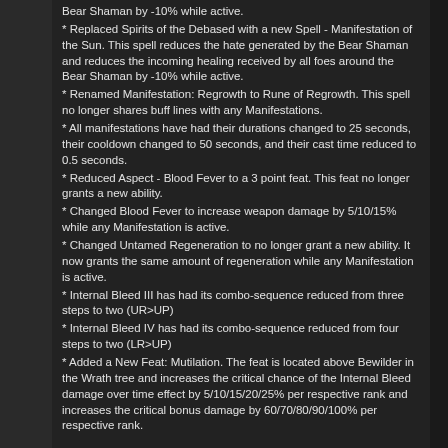Bear Shaman by -10% while active. * Replaced Spirits of the Debased with a new Spell - Manifestation of the Sun. This spell reduces the hate generated by the Bear Shaman and reduces the incoming healing received by all foes around the Bear Shaman by -10% while active. * Renamed Manifestation: Regrowth to Rune of Regrowth. This spell no longer shares buff lines with any Manifestations. * All manifestations have had their durations changed to 25 seconds, their cooldown changed to 50 seconds, and their cast time reduced to 0.5 seconds. * Reduced Aspect - Blood Fever to a 3 point feat. This feat no longer grants a new ability. * Changed Blood Fever to increase weapon damage by 5/10/15% while any Manifestation is active. * Changed Untamed Regeneration to no longer grant a new ability. It now grants the same amount of regeneration while any Manifestation is active. * Internal Bleed III has had its combo-sequence reduced from three steps to two (UR>UP) * Internal Bleed IV has had its combo-sequence reduced from four steps to two (LR>UP) * Added a New Feat: Mutilation. The feat is located above Bewilder in the Wrath tree and increases the critical chance of the Internal Bleed damage over time effect by 5/10/15/20/25% per respective rank and increases the critical bonus damage by 60/70/80/90/100% per respective rank.